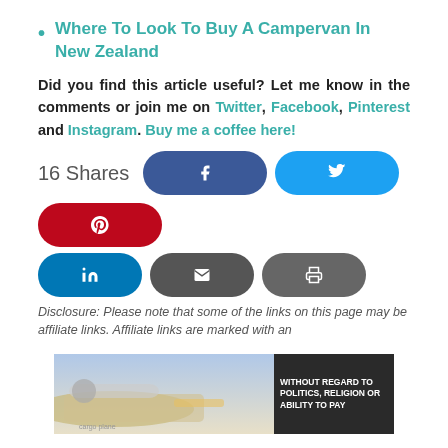Where To Look To Buy A Campervan In New Zealand
Did you find this article useful? Let me know in the comments or join me on Twitter, Facebook, Pinterest and Instagram. Buy me a coffee here!
[Figure (infographic): Social share buttons showing 16 Shares with Facebook (blue), Twitter (cyan), Pinterest (red), LinkedIn (blue), Email (dark grey), Print (grey) buttons]
Disclosure: Please note that some of the links on this page may be affiliate links. Affiliate links are marked with an
[Figure (photo): Advertisement showing a cargo airplane being loaded, with text 'WITHOUT REGARD TO POLITICS, RELIGION OR ABILITY TO PAY']